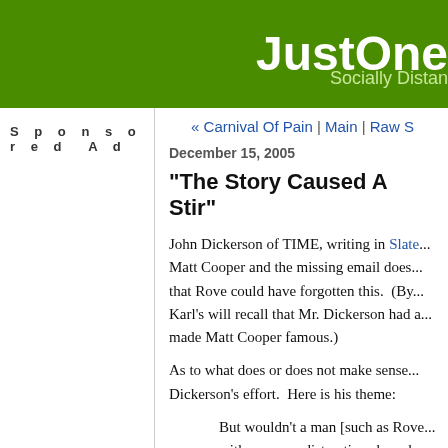JustOne — Socially Distan...
Sponsored Ad
« Carnival Of Pain | Main | Raw S...
December 15, 2005
"The Story Caused A Stir"
John Dickerson of TIME, writing in Slate... Matt Cooper and the missing email does... that Rove could have forgotten this.  (By... Karl's will recall that Mr. Dickerson had a... made Matt Cooper famous.)
As to what does or does not make sense... Dickerson's effort.  Here is his theme:
But wouldn't a man [such as Rove... with so many distractions have be... memory and his files when the qu... identity of Joe Wilson's wife starte... important people in Washington w...